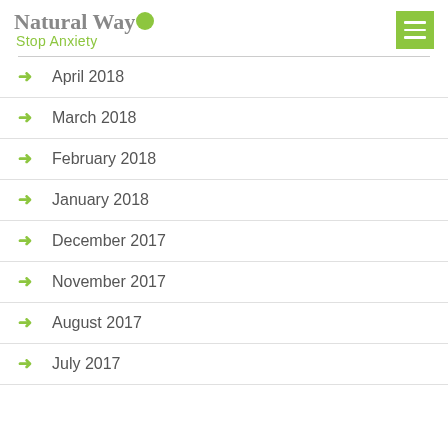Natural Way Stop Anxiety
April 2018
March 2018
February 2018
January 2018
December 2017
November 2017
August 2017
July 2017